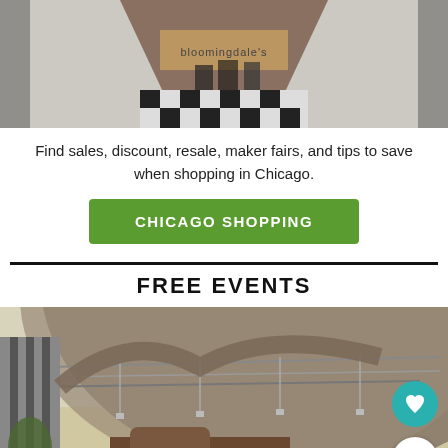[Figure (photo): Interior corridor of Bloomingdale's store, viewed from below an escalator looking up toward the storefront sign.]
Find sales, discount, resale, maker fairs, and tips to save when shopping in Chicago.
CHICAGO SHOPPING
FREE EVENTS
[Figure (photo): Exterior architectural photo of Pritzker Pavilion in Millennium Park, Chicago, showing the metallic curved canopy and trellis structure.]